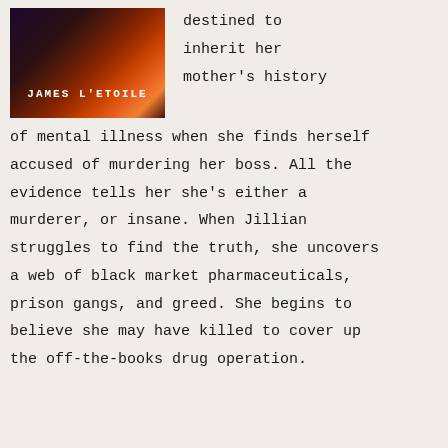[Figure (illustration): Book cover image for a novel by James L'Etoile, showing abstract flame/smoke imagery in dark red and orange tones on a dark background, with the author name 'JAMES L'ETOILE' in white monospace text.]
destined to inherit her mother's history of mental illness when she finds herself accused of murdering her boss. All the evidence tells her she's either a murderer, or insane. When Jillian struggles to find the truth, she uncovers a web of black market pharmaceuticals, prison gangs, and greed. She begins to believe she may have killed to cover up the off-the-books drug operation.